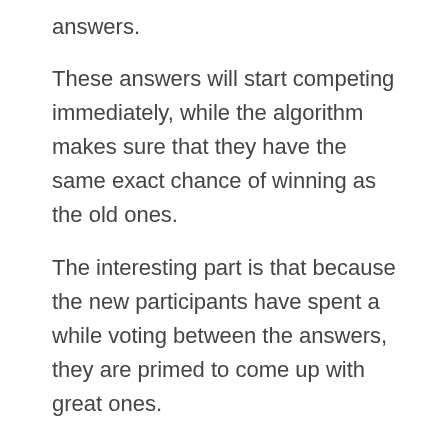answers.
These answers will start competing immediately, while the algorithm makes sure that they have the same exact chance of winning as the old ones.
The interesting part is that because the new participants have spent a while voting between the answers, they are primed to come up with great ones.
Step 4: make the best out